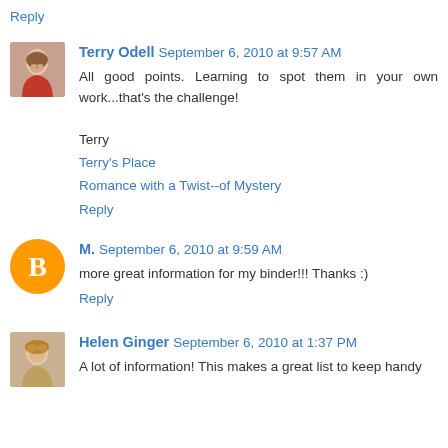Reply
Terry Odell  September 6, 2010 at 9:57 AM
All good points. Learning to spot them in your own work...that's the challenge!

Terry
Terry's Place
Romance with a Twist--of Mystery
Reply
M.  September 6, 2010 at 9:59 AM
more great information for my binder!!! Thanks :)
Reply
Helen Ginger  September 6, 2010 at 1:37 PM
A lot of information! This makes a great list to keep handy